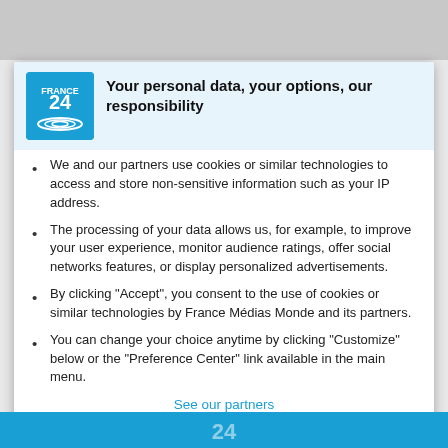[Figure (logo): France 24 logo — blue square with white text FRANCE 24 and wave graphics]
Your personal data, your options, our responsibility
We and our partners use cookies or similar technologies to access and store non-sensitive information such as your IP address.
The processing of your data allows us, for example, to improve your user experience, monitor audience ratings, offer social networks features, or display personalized advertisements.
By clicking "Accept", you consent to the use of cookies or similar technologies by France Médias Monde and its partners.
You can change your choice anytime by clicking "Customize" below or the "Preference Center" link available in the main menu.
See our partners
We and our partners do the following data processing based on your consent: store and/or access information on a device, personalised ads and content, ad and content measurement, audience insights and product development